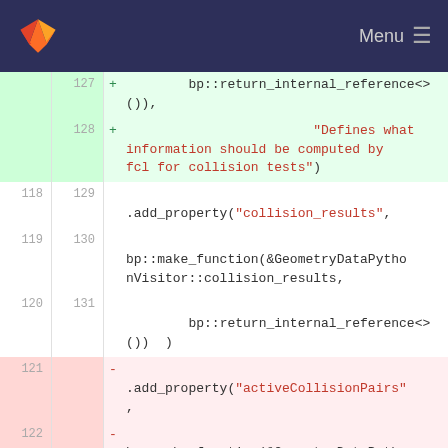GitLab — Menu
127 + bp::return_internal_reference<>()), 128 + "Defines what information should be computed by fcl for collision tests")
118 129 .add_property("collision_results", 119 130 bp::make_function(&GeometryDataPythonVisitor::collision_results, 120 131 bp::return_internal_reference<>()) )
121 - .add_property("activeCollisionPairs", 122 - bp::make_function(&GeometryDataPythonVisitor::activeCollisionPairs,